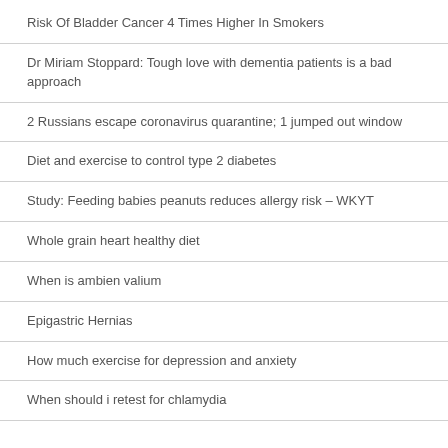Risk Of Bladder Cancer 4 Times Higher In Smokers
Dr Miriam Stoppard: Tough love with dementia patients is a bad approach
2 Russians escape coronavirus quarantine; 1 jumped out window
Diet and exercise to control type 2 diabetes
Study: Feeding babies peanuts reduces allergy risk – WKYT
Whole grain heart healthy diet
When is ambien valium
Epigastric Hernias
How much exercise for depression and anxiety
When should i retest for chlamydia